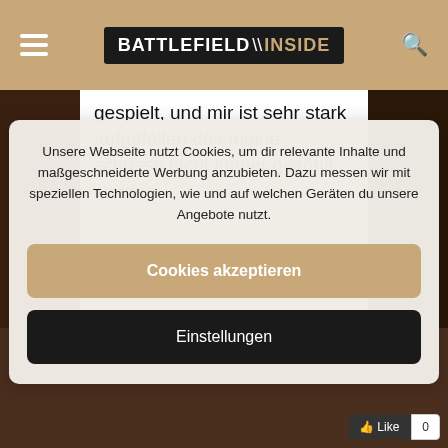BATTLEFIELD INSIDE
gespielt, und mir ist sehr stark aufgefallen das meine schüsse nicht immer gezählt werden.
Unsere Webseite nutzt Cookies, um dir relevante Inhalte und maßgeschneiderte Werbung anzubieten. Dazu messen wir mit speziellen Technologien, wie und auf welchen Geräten du unsere Angebote nutzt.
Cookies akzeptieren
Einstellungen